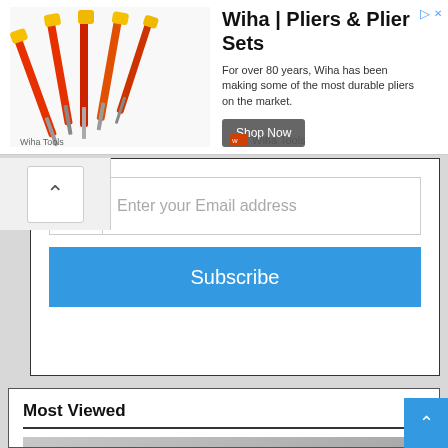[Figure (screenshot): Advertisement banner for Wiha Pliers and Plier Sets showing screwdrivers/tools image, title, description text, Shop Now button, and Wiha Tools brand name]
[Figure (screenshot): Email subscription form with Enter your email address input field and Subscribe button]
Most Viewed
[Figure (photo): Portrait photo of a woman with short dark hair, wearing diamond earrings, against a silver/grey background]